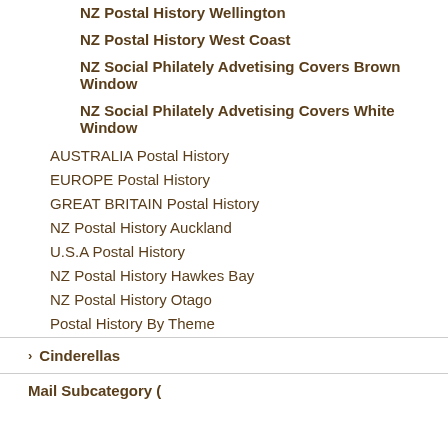NZ Postal History Wellington
NZ Postal History West Coast
NZ Social Philately Advetising Covers Brown Window
NZ Social Philately Advetising Covers White Window
AUSTRALIA Postal History
EUROPE Postal History
GREAT BRITAIN Postal History
NZ Postal History Auckland
U.S.A Postal History
NZ Postal History Hawkes Bay
NZ Postal History Otago
Postal History By Theme
Cinderellas
Mail Subcategory (truncated)